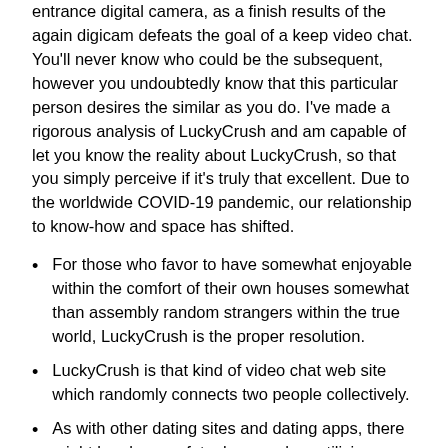entrance digital camera, as a finish results of the again digicam defeats the goal of a keep video chat. You'll never know who could be the subsequent, however you undoubtedly know that this particular person desires the similar as you do. I've made a rigorous analysis of LuckyCrush and am capable of let you know the reality about LuckyCrush, so that you simply perceive if it's truly that excellent. Due to the worldwide COVID-19 pandemic, our relationship to know-how and space has shifted.
For those who favor to have somewhat enjoyable within the comfort of their own houses somewhat than assembly random strangers within the true world, LuckyCrush is the proper resolution.
LuckyCrush is that kind of video chat web site which randomly connects two people collectively.
As with other dating sites and dating apps, there might be also a safety danger when utilizing LuckyCrush.
Once you open the positioning, you'll doubtless come throughout intercourse games, full nudity, and various hardcore actions occurring in open cam rooms.